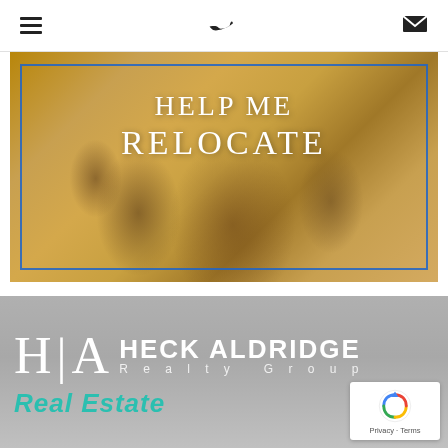Navigation bar with hamburger menu, phone icon, and email icon
[Figure (photo): Hero banner image showing a family (adults and children) playing outdoors with warm golden lighting. Overlaid with blue bordered rectangle and white serif text reading 'HELP ME RELOCATE'.]
[Figure (logo): Heck Aldridge Realty Group logo with H|A monogram in white on gray background, company name 'HECK ALDRIDGE' and 'Realty Group' in white letters]
Real Estate